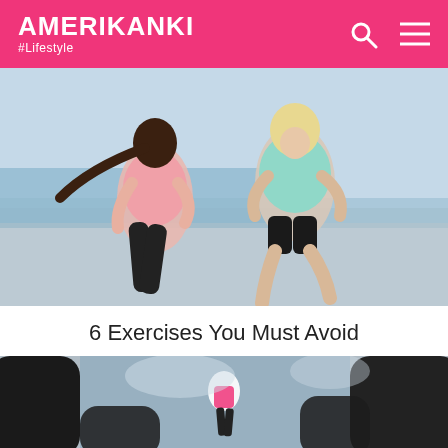AMERIKANKI #Lifestyle
[Figure (photo): Two women in athletic wear jogging together near the ocean on a cloudy day. One wears a pink tank top and black leggings, the other wears a mint/teal tank top and black shorts.]
6 Exercises You Must Avoid
[Figure (photo): Close-up low-angle view of runners' legs mid-stride, with a small figure of a woman in pink visible in the background between two dark-clad runners in the foreground.]